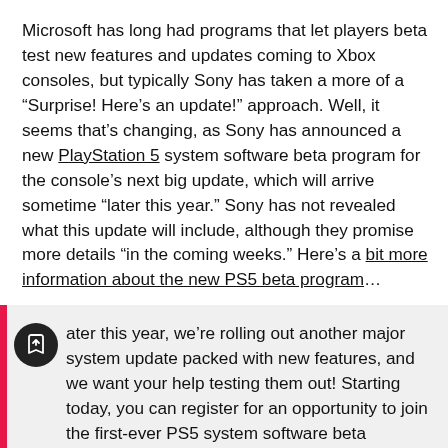Microsoft has long had programs that let players beta test new features and updates coming to Xbox consoles, but typically Sony has taken a more of a “Surprise! Here’s an update!” approach. Well, it seems that’s changing, as Sony has announced a new PlayStation 5 system software beta program for the console’s next big update, which will arrive sometime “later this year.” Sony has not revealed what this update will include, although they promise more details “in the coming weeks.” Here’s a bit more information about the new PS5 beta program…
ater this year, we’re rolling out another major system update packed with new features, and we want your help testing them out! Starting today, you can register for an opportunity to join the first-ever PS5 system software beta program…